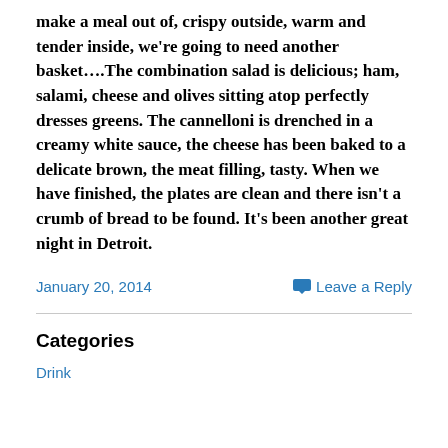make a meal out of, crispy outside, warm and tender inside, we're going to need another basket....The combination salad is delicious; ham, salami, cheese and olives sitting atop perfectly dresses greens. The cannelloni is drenched in a creamy white sauce, the cheese has been baked to a delicate brown, the meat filling, tasty. When we have finished, the plates are clean and there isn't a crumb of bread to be found. It's been another great night in Detroit.
January 20, 2014
Leave a Reply
Categories
Drink